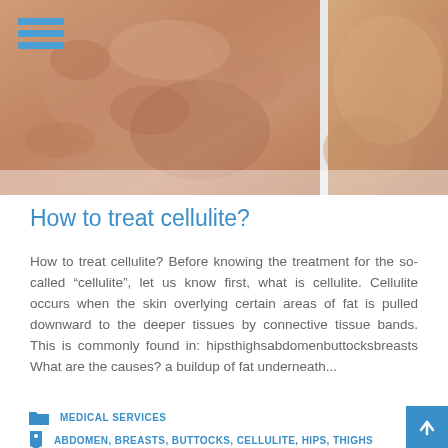[Figure (photo): Before and after photo of cellulite treatment on thighs/buttocks area, two side-by-side close-up images of skin]
How to treat cellulite?
How to treat cellulite? Before knowing the treatment for the so-called “cellulite”, let us know first, what is cellulite. Cellulite occurs when the skin overlying certain areas of fat is pulled downward to the deeper tissues by connective tissue bands. This is commonly found in: hipsthighsabdomenbuttocksbreasts What are the causes? a buildup of fat underneath...
MEDICAL SERVICES
ABDOMEN, BREASTS, BUTTOCKS, CELLULITE, HIPS, THIGHS
0